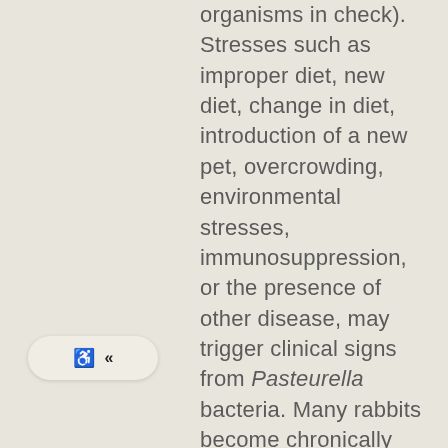organisms in check). Stresses such as improper diet, new diet, change in diet, introduction of a new pet, overcrowding, environmental stresses, immunosuppression, or the presence of other disease, may trigger clinical signs from Pasteurella bacteria. Many rabbits become chronically infected with this organism. The disease is easily transmitted by close contact between rabbits, but not all rabbits will manifest disease.
[Figure (other): Accessibility widget with wheelchair icon and double left arrow (<<) on a rounded pill-shaped button]